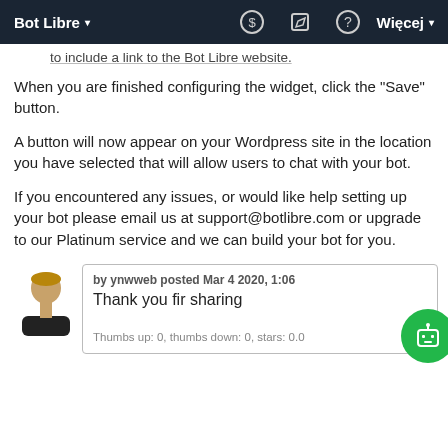Bot Libre ▾   $   ✎   ?   Więcej ▾
to include a link to the Bot Libre website.
When you are finished configuring the widget, click the "Save" button.
A button will now appear on your Wordpress site in the location you have selected that will allow users to chat with your bot.
If you encountered any issues, or would like help setting up your bot please email us at support@botlibre.com or upgrade to our Platinum service and we can build your bot for you.
by ynwweb posted Mar 4 2020, 1:06
Thank you fir sharing
Thumbs up: 0, thumbs down: 0, stars: 0.0